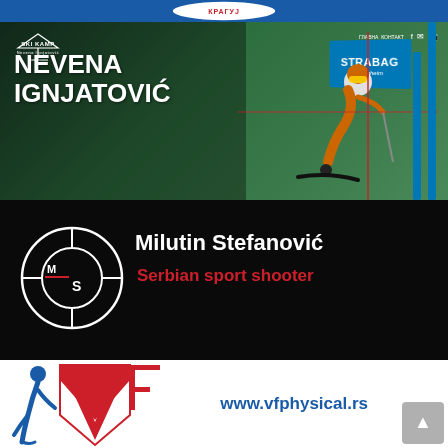[Figure (screenshot): Top partial banner with red and blue logo elements]
[Figure (screenshot): Nevena Ignjatović Ski Kamp website banner featuring a skier in action with Strabag sponsor gate, green forest background, white bold text reading NEVENA IGNJATOVIĆ]
[Figure (logo): Milutin Stefanović Serbian sport shooter banner. Black background with target crosshair logo containing MS initials, white text Milutin Stefanović and red text Serbian sport shooter]
[Figure (logo): VF Physical banner with blue and red VF logo graphic and blue text www.vfphysical.rs on white background, scroll-to-top button]